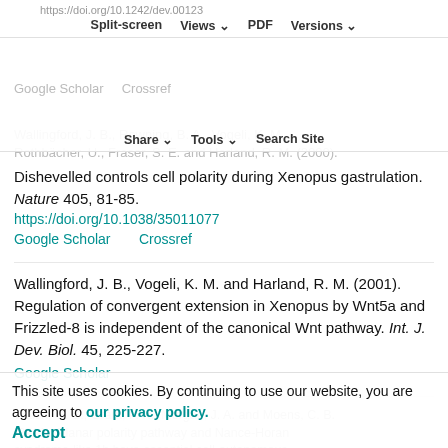https://doi.org/10.1242/dev.00123
Split-screen  Views  PDF  Versions
Google Scholar  Crossref
Share  Tools  Search Site
Wallingford, J. B., Rowning, B. A., Vogeli, K. M., Rothbächer, U., Fraser, S. E. and Harland, R. M. (2000). Dishevelled controls cell polarity during Xenopus gastrulation. Nature 405, 81-85. https://doi.org/10.1038/35011077
Google Scholar  Crossref
Wallingford, J. B., Vogeli, K. M. and Harland, R. M. (2001). Regulation of convergent extension in Xenopus by Wnt5a and Frizzled-8 is independent of the canonical Wnt pathway. Int. J. Dev. Biol. 45, 225-227.
Google Scholar
Walsh, G. S., Grant, P. K., Morgan, J. A. and Moens, C. B. (2011). Planar polarity pathway and Nance-Horan syndrome-like 1b have essential cell-autonomous functions in neuronal migration. Development 138,
This site uses cookies. By continuing to use our website, you are agreeing to our privacy policy. Accept